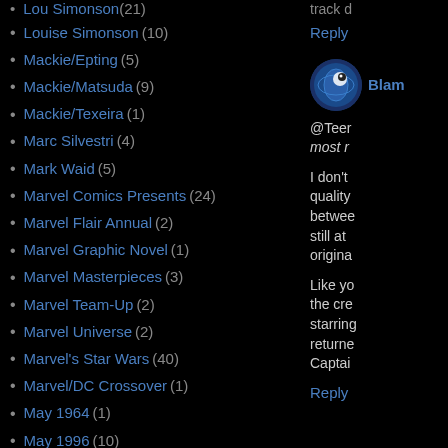Louise Simonson (10)
Mackie/Epting (5)
Mackie/Matsuda (9)
Mackie/Texeira (1)
Marc Silvestri (4)
Mark Waid (5)
Marvel Comics Presents (24)
Marvel Flair Annual (2)
Marvel Graphic Novel (1)
Marvel Masterpieces (3)
Marvel Team-Up (2)
Marvel Universe (2)
Marvel's Star Wars (40)
Marvel/DC Crossover (1)
May 1964 (1)
May 1996 (10)
Michael Golden (2)
Michelinie/Frenz (1)
Michelinie/Simonson (13)
Mike Mignola (1)
Mike Zeck (5)
Movies (79)
track d
Reply
Blam
@Teer most r
I don't quality betwee still at origina
Like yo the cre starring returne Captai
Reply